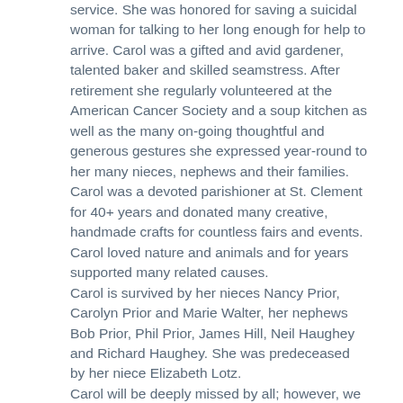service. She was honored for saving a suicidal woman for talking to her long enough for help to arrive. Carol was a gifted and avid gardener, talented baker and skilled seamstress. After retirement she regularly volunteered at the American Cancer Society and a soup kitchen as well as the many on-going thoughtful and generous gestures she expressed year-round to her many nieces, nephews and their families. Carol was a devoted parishioner at St. Clement for 40+ years and donated many creative, handmade crafts for countless fairs and events. Carol loved nature and animals and for years supported many related causes.
Carol is survived by her nieces Nancy Prior, Carolyn Prior and Marie Walter, her nephews Bob Prior, Phil Prior, James Hill, Neil Haughey and Richard Haughey. She was predeceased by her niece Elizabeth Lotz.
Carol will be deeply missed by all; however, we take comfort in knowing she is where she has long wanted to be, with her family in heaven.
A Mass of Christian Burial will be held on Wednesday, November 8,2017 at St. Clements RC Church, 535 Fairfield Ave., Stamford, at 10:00AM, interment will follow at St. John's RC